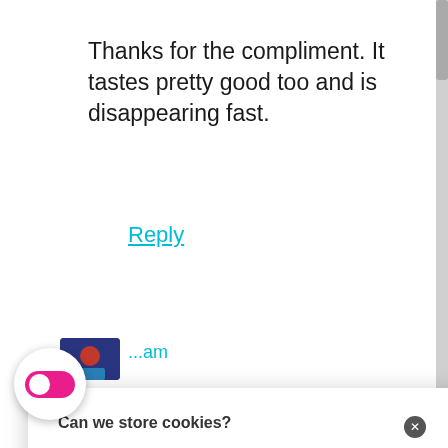Thanks for the compliment. It tastes pretty good too and is disappearing fast.
Reply
[Figure (screenshot): Cookie consent dialog overlay with title 'Can we store cookies?', description 'These will be used to power Marketing, Payments, and Statistics.', and two action buttons: 'No, Customize' and 'This is okay']
e things on tea have always been a stickler for staying out of the ntry during the day...but in the afternoon, ing an indulgent slice of something.....like your cake!